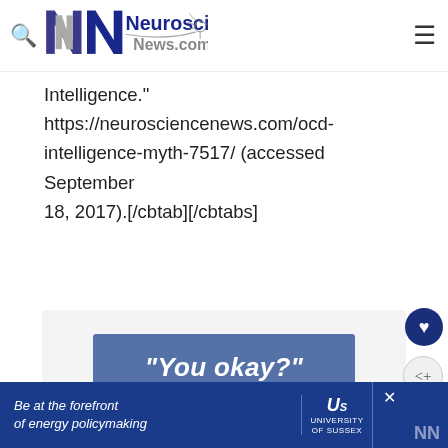Neuroscience News.com
Intelligence." https://neurosciencenews.com/ocd-intelligence-myth-7517/ (accessed September 18, 2017).[/cbtab][/cbtabs]
[Figure (other): Blue button with white bold italic text reading "You okay?"]
Be at the forefront of energy policymaking | University of Sussex